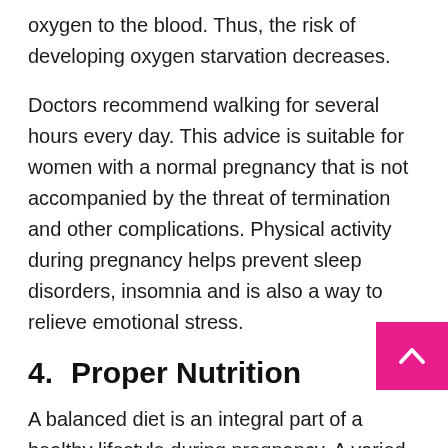oxygen to the blood. Thus, the risk of developing oxygen starvation decreases.
Doctors recommend walking for several hours every day. This advice is suitable for women with a normal pregnancy that is not accompanied by the threat of termination and other complications. Physical activity during pregnancy helps prevent sleep disorders, insomnia and is also a way to relieve emotional stress.
4.   Proper Nutrition
A balanced diet is an integral part of a healthy lifestyle during pregnancy. A varied diet and proper food processing provide the baby’s body with nutrients, vitamins, and minerals. In addition, proper nutrition